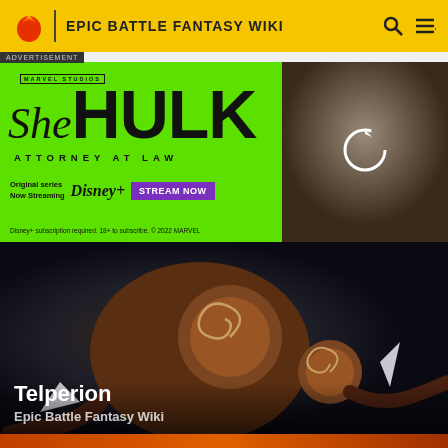EPIC BATTLE FANTASY WIKI
ADVERTISEMENT
[Figure (photo): She-Hulk: Attorney at Law Marvel Studios advertisement banner. Green background with She-Hulk logo, Disney+ streaming information, and a photo of a woman with curly hair.]
[Figure (illustration): Telperion creature artwork from Epic Battle Fantasy Wiki. Brown tree-like creature with spiral wood patterns against a dark background.]
Telperion
Epic Battle Fantasy Wiki
[Figure (photo): Partial view of another character/enemy at the bottom of the page, orange and dark colored.]